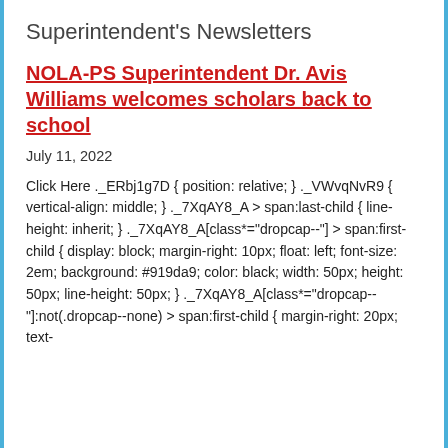Superintendent's Newsletters
NOLA-PS Superintendent Dr. Avis Williams welcomes scholars back to school
July 11, 2022
Click Here ._ERbj1g7D { position: relative; } ._VWvqNvR9 { vertical-align: middle; } ._7XqAY8_A > span:last-child { line-height: inherit; } ._7XqAY8_A[class*="dropcap--"] > span:first-child { display: block; margin-right: 10px; float: left; font-size: 2em; background: #919da9; color: black; width: 50px; height: 50px; line-height: 50px; } ._7XqAY8_A[class*="dropcap--"]:not(.dropcap--none) > span:first-child { margin-right: 20px; text-